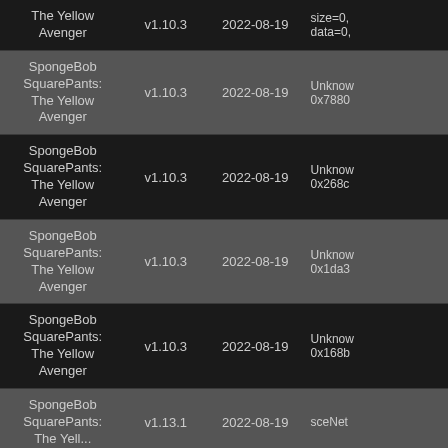| Game | Version | Date | Info |
| --- | --- | --- | --- |
| SpongeBob SquarePants: The Yellow Avenger | v1.10.3 | 2022-08-19 | size=0... data=0, |
| SpongeBob SquarePants: The Yellow Avenger | v1.10.3 | 2022-08-19 | Unknow 0x7880 |
| SpongeBob SquarePants: The Yellow Avenger | v1.10.3 | 2022-08-19 | Unknow 0x268c |
| SpongeBob SquarePants: The Yellow Avenger | v1.10.3 | 2022-08-19 | Unknow 0x1da3 |
| SpongeBob SquarePants: The Yellow Avenger | v1.10.3 | 2022-08-19 | Unknow 0x168b |
| SpongeBob SquarePants: The Yellow Avenger | v1.13.1 | 2022-08-19 | sceNet |